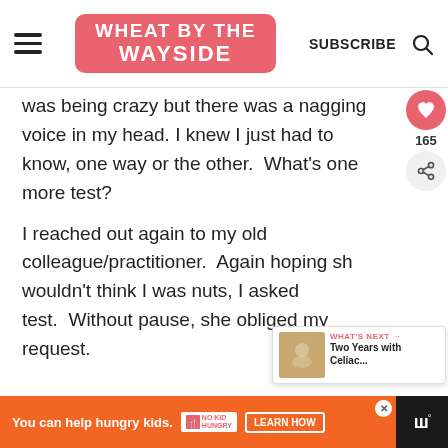WHEAT BY THE WAYSIDE — SUBSCRIBE
was being crazy but there was a nagging voice in my head. I knew I just had to know, one way or the other.  What's one more test?
I reached out again to my old colleague/practitioner.  Again hoping she wouldn't think I was nuts, I asked for a test.  Without pause, she obliged my request.
You can help hungry kids. NO KID HUNGRY LEARN HOW